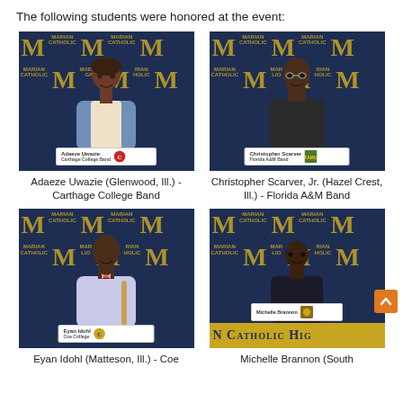The following students were honored at the event:
[Figure (photo): Photo of Adaeze Uwazie sitting at a table in front of a Marian Catholic backdrop, holding a Carthage College sign]
Adaeze Uwazie (Glenwood, Ill.) - Carthage College Band
[Figure (photo): Photo of Christopher Scarver, Jr. sitting at a table in front of a Marian Catholic backdrop, holding a Florida A&M sign]
Christopher Scarver, Jr. (Hazel Crest, Ill.) - Florida A&M Band
[Figure (photo): Photo of Eyan Idohl sitting at a table in front of a Marian Catholic backdrop, holding a Coe sign]
Eyan Idohl (Matteson, Ill.) - Coe
[Figure (photo): Photo of Michelle Brannon sitting at a table in front of a Marian Catholic backdrop with the school sign visible]
Michelle Brannon (South